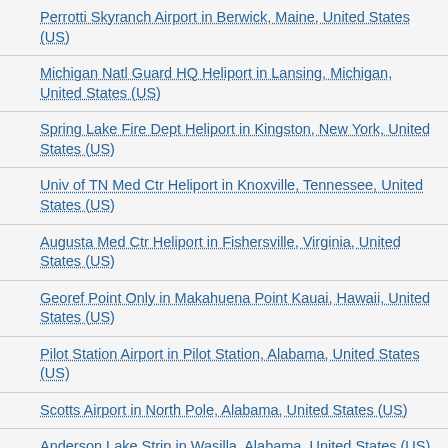Perrotti Skyranch Airport in Berwick, Maine, United States (US)
Michigan Natl Guard HQ Heliport in Lansing, Michigan, United States (US)
Spring Lake Fire Dept Heliport in Kingston, New York, United States (US)
Univ of TN Med Ctr Heliport in Knoxville, Tennessee, United States (US)
Augusta Med Ctr Heliport in Fishersville, Virginia, United States (US)
Georef Point Only in Makahuena Point Kauai, Hawaii, United States (US)
Pilot Station Airport in Pilot Station, Alabama, United States (US)
Scotts Airport in North Pole, Alabama, United States (US)
Anderson Lake Strip in Wasilla, Alabama, United States (US)
Cape Simpson Airport in Cape Simpson, Alabama, United States (US)
Parker Lake Airport in Montana Creek, Alabama, United States (US)